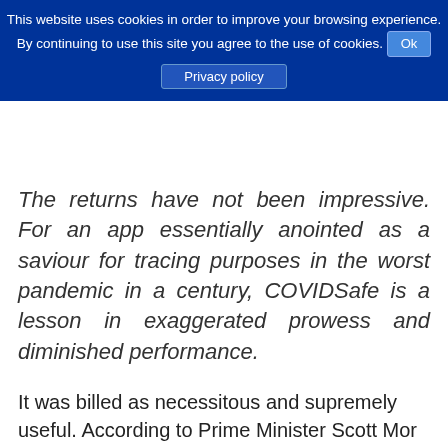This website uses cookies in order to improve your browsing experience. By continuing to use this site you agree to the use of cookies. Ok Privacy policy
The returns have not been impressive. For an app essentially anointed as a saviour for tracing purposes in the worst pandemic in a century, COVIDSafe is a lesson in exaggerated prowess and diminished performance.
It was billed as necessitous and supremely useful. According to Prime Minister Scott Mor...